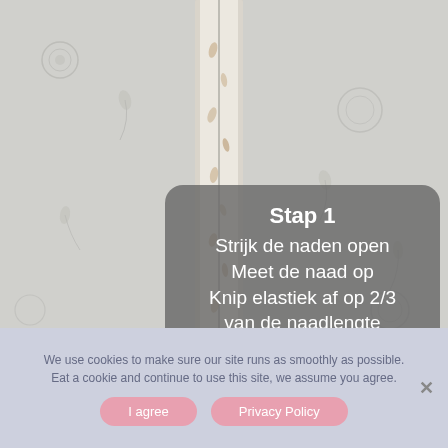[Figure (photo): Close-up photo of fabric/textile seam on a light floral patterned background (wallpaper or fabric with subtle grey botanical motifs). A strip of cream/white fabric with small leaf/feather print runs vertically in the center of the image.]
Stap 1
Strijk de naden open
Meet de naad op
Knip elastiek af op 2/3
van de naadlengte
We use cookies to make sure our site runs as smoothly as possible. Eat a cookie and continue to use this site, we assume you agree.